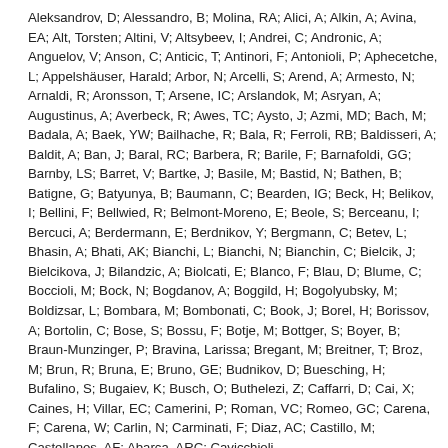Aleksandrov, D; Alessandro, B; Molina, RA; Alici, A; Alkin, A; Avina, EA; Alt, Torsten; Altini, V; Altsybeev, I; Andrei, C; Andronic, A; Anguelov, V; Anson, C; Anticic, T; Antinori, F; Antonioli, P; Aphecetche, L; Appelshäuser, Harald; Arbor, N; Arcelli, S; Arend, A; Armesto, N; Arnaldi, R; Aronsson, T; Arsene, IC; Arslandok, M; Asryan, A; Augustinus, A; Averbeck, R; Awes, TC; Aysto, J; Azmi, MD; Bach, M; Badala, A; Baek, YW; Bailhache, R; Bala, R; Ferroli, RB; Baldisseri, A; Baldit, A; Ban, J; Baral, RC; Barbera, R; Barile, F; Barnafoldi, GG; Barnby, LS; Barret, V; Bartke, J; Basile, M; Bastid, N; Bathen, B; Batigne, G; Batyunya, B; Baumann, C; Bearden, IG; Beck, H; Belikov, I; Bellini, F; Bellwied, R; Belmont-Moreno, E; Beole, S; Berceanu, I; Bercuci, A; Berdermann, E; Berdnikov, Y; Bergmann, C; Betev, L; Bhasin, A; Bhati, AK; Bianchi, L; Bianchi, N; Bianchin, C; Bielcik, J; Bielcikova, J; Bilandzic, A; Biolcati, E; Blanco, F; Blau, D; Blume, C; Boccioli, M; Bock, N; Bogdanov, A; Boggild, H; Bogolyubsky, M; Boldizsar, L; Bombara, M; Bombonati, C; Book, J; Borel, H; Borissov, A; Bortolin, C; Bose, S; Bossu, F; Botje, M; Bottger, S; Boyer, B; Braun-Munzinger, P; Bravina, Larissa; Bregant, M; Breitner, T; Broz, M; Brun, R; Bruna, E; Bruno, GE; Budnikov, D; Buesching, H; Bufalino, S; Bugaiev, K; Busch, O; Buthelezi, Z; Caffarri, D; Cai, X; Caines, H; Villar, EC; Camerini, P; Roman, VC; Romeo, GC; Carena, F; Carena, W; Carlin, N; Carminati, F; Diaz, AC; Castillo, M; Castellanos, AF; Abarca, ARC; Cavicchioli, ...